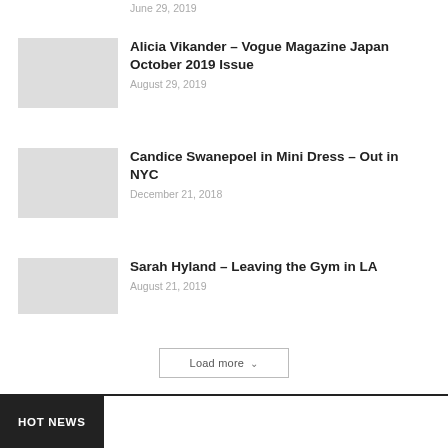June 29, 2019
Alicia Vikander – Vogue Magazine Japan October 2019 Issue
August 29, 2019
Candice Swanepoel in Mini Dress – Out in NYC
December 21, 2018
Sarah Hyland – Leaving the Gym in LA
August 21, 2019
Load more
HOT NEWS